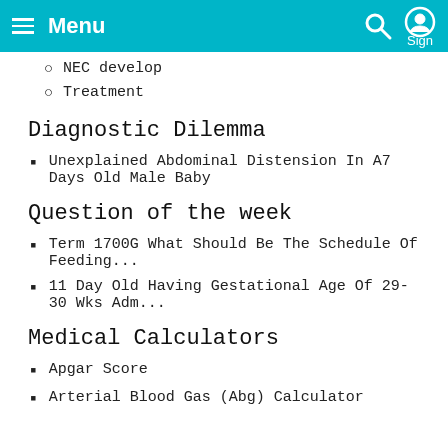≡ Menu  Sign In
NEC develop
Treatment
Diagnostic Dilemma
Unexplained Abdominal Distension In A7 Days Old Male Baby
Question of the week
Term 1700G What Should Be The Schedule Of Feeding...
11 Day Old Having Gestational Age Of 29-30 Wks Adm...
Medical Calculators
Apgar Score
Arterial Blood Gas (Abg) Calculator